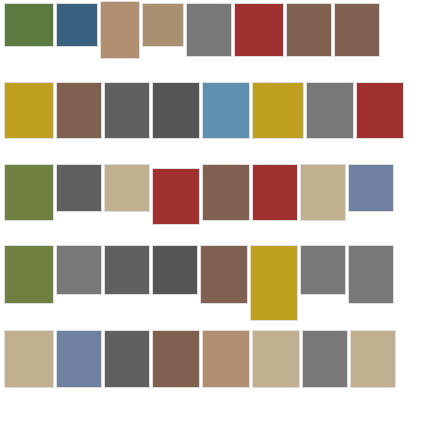[Figure (photo): A collage/grid of thumbnail photographs arranged in 5 rows showing various subjects: temples, gardens, monkeys, signs, buildings, statues, street scenes, and urban architecture from what appears to be Japan and other locations.]